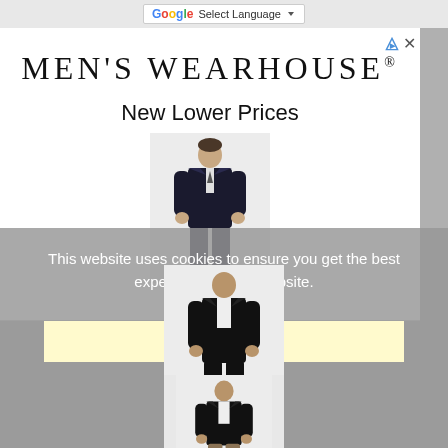Select Language
[Figure (screenshot): Men's Wearhouse advertisement banner showing logo, 'New Lower Prices' text, and three suit product images priced at $69.99, $209.99, and $229.99]
MEN'S WEARHOUSE®
New Lower Prices
$69.99
$209.99
$229.99
This website uses cookies to ensure you get the best experience on our website.
Learn more
Got it!